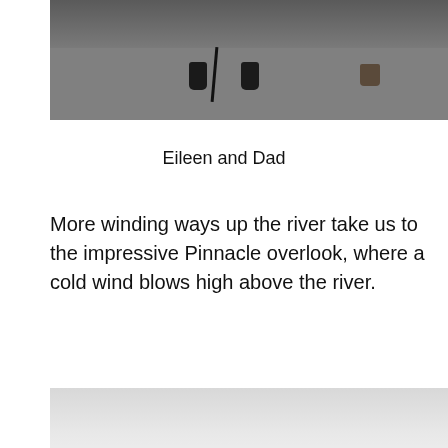[Figure (photo): Partial photo showing feet and legs of people on pavement, with a walking cane visible, cropped at top of page]
Eileen and Dad
More winding ways up the river take us to the impressive Pinnacle overlook, where a cold wind blows high above the river.
[Figure (photo): Scenic overlook photo showing forested hills, river valley, and sky; people visible in foreground at bottom, partially cropped]